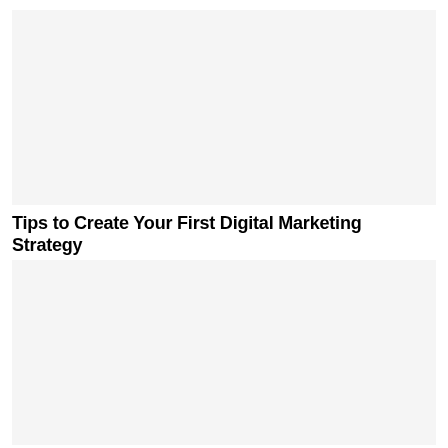[Figure (photo): Large image placeholder block (light gray background)]
Tips to Create Your First Digital Marketing Strategy
[Figure (photo): Large image placeholder block (light gray background)]